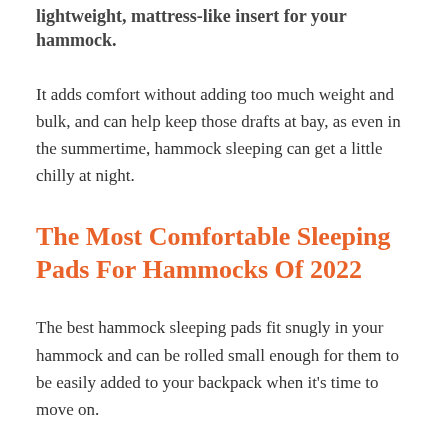lightweight, mattress-like insert for your hammock.
It adds comfort without adding too much weight and bulk, and can help keep those drafts at bay, as even in the summertime, hammock sleeping can get a little chilly at night.
The Most Comfortable Sleeping Pads For Hammocks Of 2022
The best hammock sleeping pads fit snugly in your hammock and can be rolled small enough for them to be easily added to your backpack when it’s time to move on.
You should also choose one that is relatively easy to clean and care for when it’s not in use.
We kept all of this (and more) in mind when choosing our